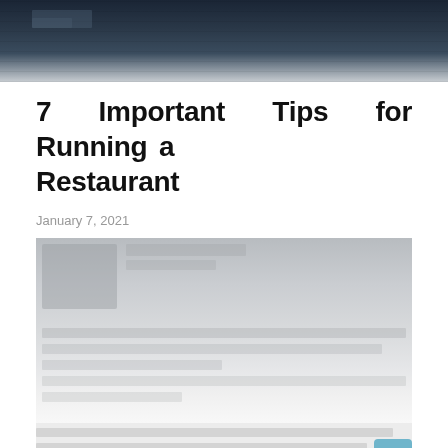[Figure (photo): Dark restaurant interior hero image at the top of the page]
7 Important Tips for Running a Restaurant
January 7, 2021
[Figure (photo): Blurred/faded image with text lines below it, body content area of the article]